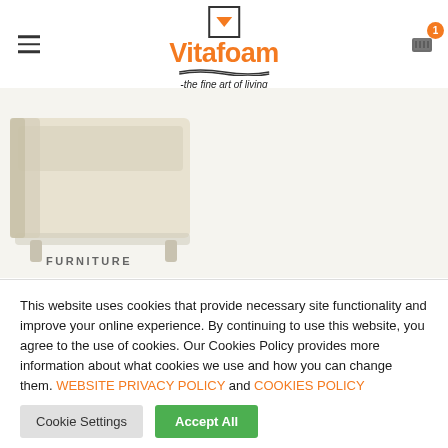[Figure (logo): Vitafoam logo with orange text, small icon above, tagline '-the fine art of living' below, hamburger menu icon on left, shopping cart with badge on right]
[Figure (photo): Partial view of a cream/beige upholstered furniture piece (sofa or ottoman corner) on a light beige background]
FURNITURE
This website uses cookies that provide necessary site functionality and improve your online experience. By continuing to use this website, you agree to the use of cookies. Our Cookies Policy provides more information about what cookies we use and how you can change them. WEBSITE PRIVACY POLICY and COOKIES POLICY